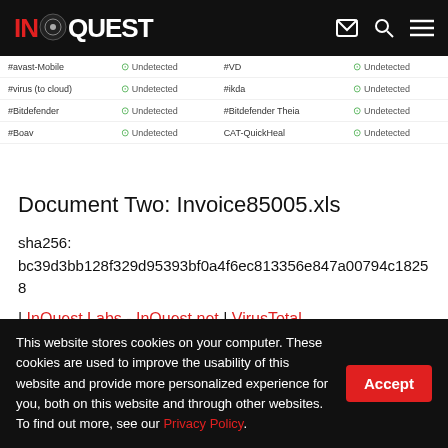INQUEST
| Vendor | Status | Vendor | Status |
| --- | --- | --- | --- |
| #avast-Mobile | Undetected | #VD | Undetected |
| #virus (to cloud) | Undetected | #ikda | Undetected |
| #Bitdefender | Undetected | #Bitdefender Theia | Undetected |
| #Boav | Undetected | CAT-QuickHeal | Undetected |
Document Two: Invoice85005.xls
sha256: bc39d3bb128f329d95393bf0a4f6ec813356e847a00794c18258...
| InQuest Labs - InQuest.net | VirusTotal
This website stores cookies on your computer. These cookies are used to improve the usability of this website and provide more personalized experience for you, both on this website and through other websites. To find out more, see our Privacy Policy.